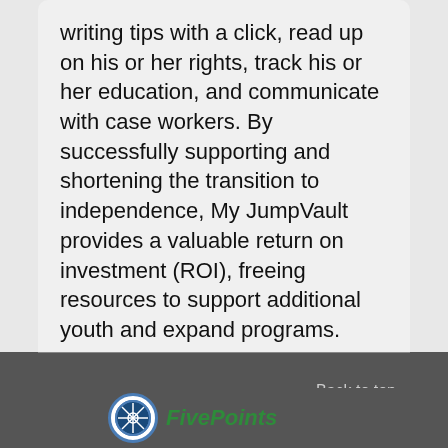writing tips with a click, read up on his or her rights, track his or her education, and communicate with case workers. By successfully supporting and shortening the transition to independence, My JumpVault provides a valuable return on investment (ROI), freeing resources to support additional youth and expand programs.
Back to top
[Figure (logo): EyePoints organization logo with circular badge and green italic text]